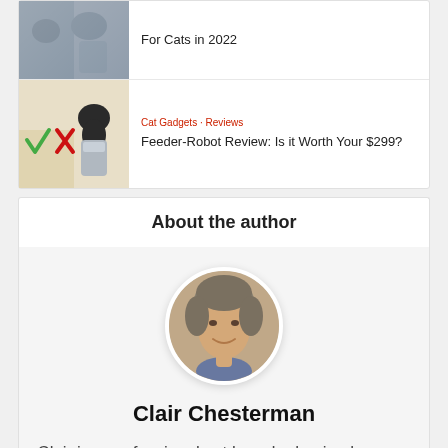[Figure (photo): Cats and cat food/feeder image (partial, cropped at top)]
For Cats in 2022
[Figure (photo): Review image showing checkmark and X icons with a cat on a feeder, labeled LLY-TESTED, IBIASED REVIEW]
Cat Gadgets · Reviews
Feeder-Robot Review: Is it Worth Your $299?
About the author
[Figure (photo): Circular headshot photo of Clair Chesterman, a middle-aged woman with short grey-brown hair, smiling]
Clair Chesterman
Clair is a professional cat breeder having her own cageless CFA and CFA Premier...